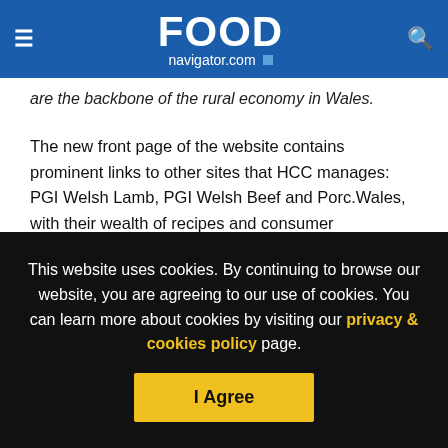FOOD navigator.com
are the backbone of the rural economy in Wales.
The new front page of the website contains prominent links to other sites that HCC manages: PGI Welsh Lamb, PGI Welsh Beef and Porc.Wales, with their wealth of recipes and consumer competitions; and HCCTrade.co.uk, the resource for industry professionals.
Copyright - Unless otherwise stated all contents of this web site are ©
This website uses cookies. By continuing to browse our website, you are agreeing to our use of cookies. You can learn more about cookies by visiting our privacy & cookies policy page.